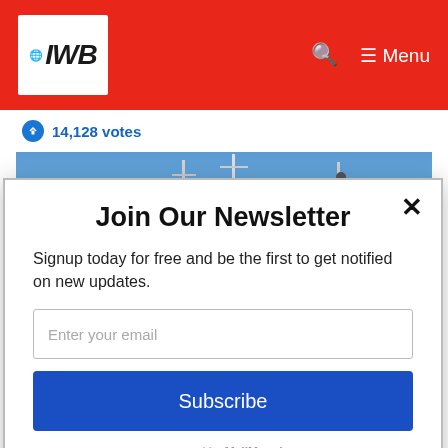IWB — navigation bar with logo, search, and menu
14,128 votes
[Figure (photo): Photo of sailboat masts against a blue sky with a teal object visible on the right side]
Join Our Newsletter
Signup today for free and be the first to get notified on new updates.
Enter your email
Subscribe
powered by MailMunch